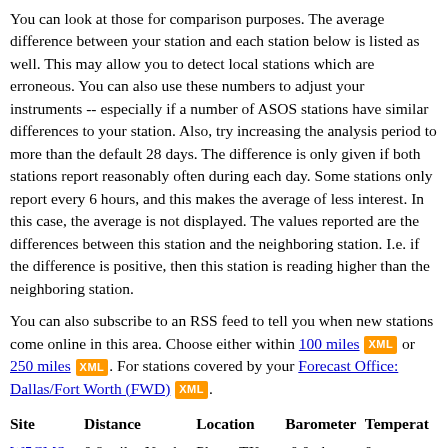You can look at those for comparison purposes. The average difference between your station and each station below is listed as well. This may allow you to detect local stations which are erroneous. You can also use these numbers to adjust your instruments -- especially if a number of ASOS stations have similar differences to your station. Also, try increasing the analysis period to more than the default 28 days. The difference is only given if both stations report reasonably often during each day. Some stations only report every 6 hours, and this makes the average of less interest. In this case, the average is not displayed. The values reported are the differences between this station and the neighboring station. I.e. if the difference is positive, then this station is reading higher than the neighboring station.
You can also subscribe to an RSS feed to tell you when new stations come online in this area. Choose either within 100 miles [XML] or 250 miles [XML]. For stations covered by your Forecast Office: Dallas/Fort Worth (FWD) [XML].
| Site | Distance | Location | Barometer | Temperature |
| --- | --- | --- | --- | --- |
| W5CMS-13 | 0.9 miles North | Plano, TX, US (lat 33.0290°, long | -0.0mb | 0 |